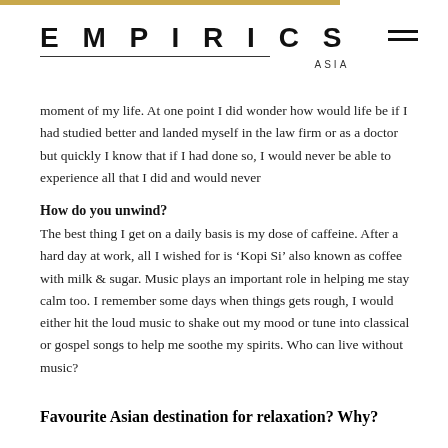EMPIRICS ASIA
moment of my life. At one point I did wonder how would life be if I had studied better and landed myself in the law firm or as a doctor but quickly I know that if I had done so, I would never be able to experience all that I did and would never
How do you unwind?
The best thing I get on a daily basis is my dose of caffeine. After a hard day at work, all I wished for is ‘Kopi Si’ also known as coffee with milk & sugar. Music plays an important role in helping me stay calm too. I remember some days when things gets rough, I would either hit the loud music to shake out my mood or tune into classical or gospel songs to help me soothe my spirits. Who can live without music?
Favourite Asian destination for relaxation? Why?